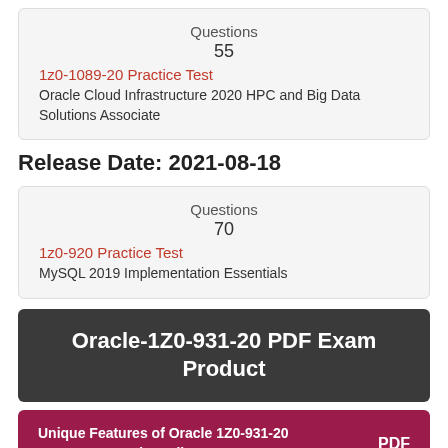| Questions |  |
| --- | --- |
| 55 |  |
| 1z0-1089-20 Practice Test |  |
| Oracle Cloud Infrastructure 2020 HPC and Big Data Solutions Associate |  |
Release Date: 2021-08-18
| Questions |  |
| --- | --- |
| 70 |  |
| 1z0-920 Practice Test |  |
| MySQL 2019 Implementation Essentials |  |
Oracle-1Z0-931-20 PDF Exam Product
Unique Features of Oracle 1Z0-931-20 PDF Exam Product File    PDF